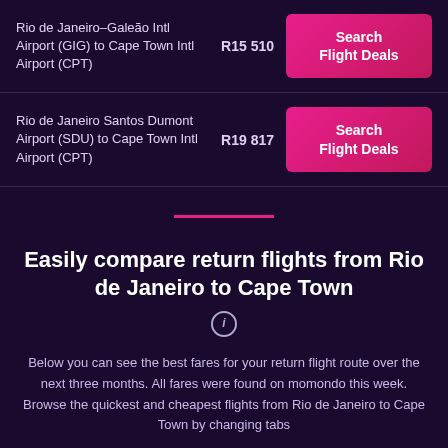Rio de Janeiro–Galeão Intl Airport (GIG) to Cape Town Intl Airport (CPT) — R15 510 — Search Flight Deals
Rio de Janeiro Santos Dumont Airport (SDU) to Cape Town Intl Airport (CPT) — R19 817 — Search Flight Deals
Easily compare return flights from Rio de Janeiro to Cape Town
Below you can see the best fares for your return flight route over the next three months. All fares were found on momondo this week. Browse the quickest and cheapest flights from Rio de Janeiro to Cape Town by changing tabs